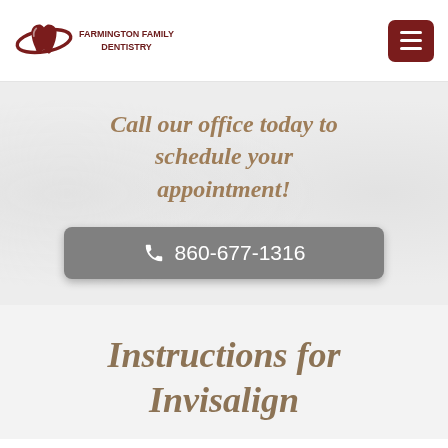[Figure (logo): Farmington Family Dentistry logo with tooth and orbital ring graphic, dark red color]
Call our office today to schedule your appointment!
860-677-1316
Instructions for Invisalign